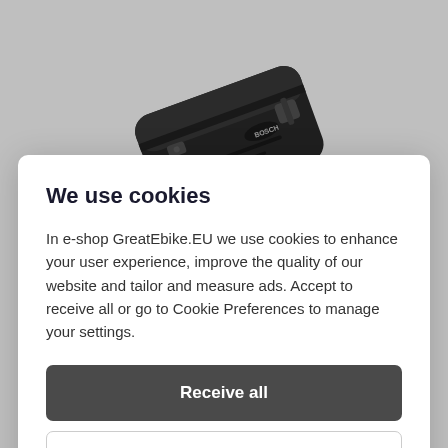[Figure (photo): BOSCH PowerPack battery product photo, black elongated battery pack viewed at an angle from above, with Bosch logo visible]
BOSCH PowerPack Battery [11/13.4Ah]
We use cookies
In e-shop GreatEbike.EU we use cookies to enhance your user experience, improve the quality of our website and tailor and measure ads. Accept to receive all or go to Cookie Preferences to manage your settings.
Receive all
Preferences